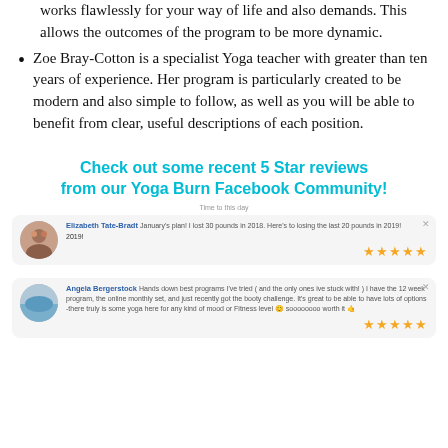works flawlessly for your way of life and also demands. This allows the outcomes of the program to be more dynamic.
Zoe Bray-Cotton is a specialist Yoga teacher with greater than ten years of experience. Her program is particularly created to be modern and also simple to follow, as well as you will be able to benefit from clear, useful descriptions of each position.
Check out some recent 5 Star reviews from our Yoga Burn Facebook Community!
Time to this day
[Figure (screenshot): Facebook review card from Elizabeth Tate-Bradt: 'January's plan! I lost 30 pounds in 2018. Here's to losing the last 20 pounds in 2019!' with 5 gold stars]
[Figure (screenshot): Facebook review card from Angela Bergerstock: 'Hands down best programs I've tried ( and the only ones ive stuck with! ) I have the 12 week program, the online monthly set, and just recently got the booty challenge. It's great to be able to have lots of options -there truly is some yoga here for any kind of mood or Fitness level 😊 soooooooo worth it 🤙' with 5 gold stars]